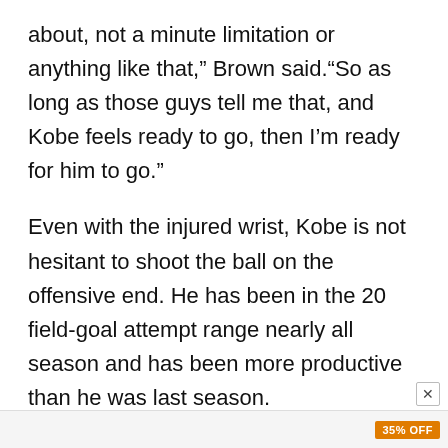about, not a minute limitation or anything like that," Brown said.“So as long as those guys tell me that, and Kobe feels ready to go, then I’m ready for him to go.”
Even with the injured wrist, Kobe is not hesitant to shoot the ball on the offensive end. He has been in the 20 field-goal attempt range nearly all season and has been more productive than he was last season.
As of right now, Bryant is averaging 27.8 ppg, 6.2 rpg and 5.8 apg. It is safe to say that the torn ligament in Kobe’s hand is not affecting him too much.